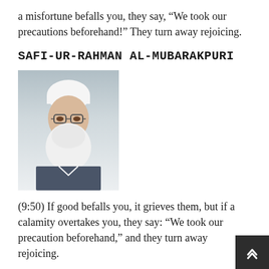a misfortune befalls you, they say, “We took our precautions beforehand!” They turn away rejoicing.
SAFI-UR-RAHMAN AL-MUBARAKPURI
[Figure (photo): Portrait photo of an elderly man with white beard, glasses, and white cap]
(9:50) If good befalls you, it grieves them, but if a calamity overtakes you, they say: “We took our precaution beforehand,” and they turn away rejoicing.
ALI QULI QARAI
[Figure (photo): Partial portrait photo of a man with grey hair and glasses, cropped at bottom of page]